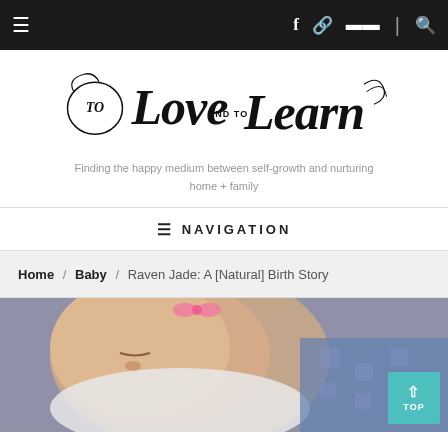≡  f  🔗  ▤  |  🔍
[Figure (logo): To Love and to Learn — decorative script logo]
Finding the happy medium between self-growth and nurturing home + family
≡ NAVIGATION
Home / Baby / Raven Jade: A [Natural] Birth Story
[Figure (photo): Close-up photo of a newborn baby with a pink bow headband, wrapped in white, with a blue patterned blanket in the background. A teal TOP button is in the bottom right corner.]